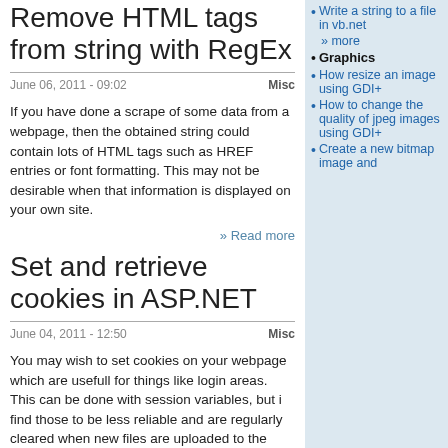Remove HTML tags from string with RegEx
June 06, 2011 - 09:02    Misc
If you have done a scrape of some data from a webpage, then the obtained string could contain lots of HTML tags such as HREF entries or font formatting. This may not be desirable when that information is displayed on your own site.
» Read more
Set and retrieve cookies in ASP.NET
June 04, 2011 - 12:50    Misc
You may wish to set cookies on your webpage which are usefull for things like login areas. This can be done with session variables, but i find those to be less reliable and are regularly cleared when new files are uploaded to the server.
» Read more
Read in the contents of a
Write a string to a file in vb.net
» more
Graphics
How resize an image using GDI+
How to change the quality of jpeg images using GDI+
Create a new bitmap image and